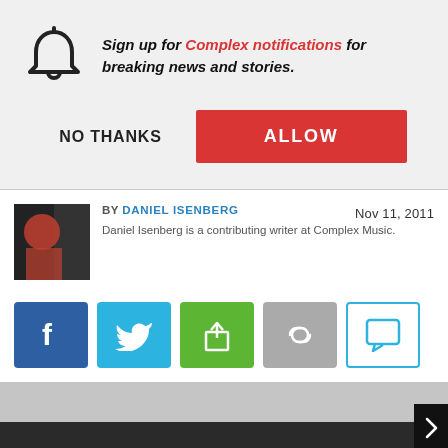Sign up for Complex notifications for breaking news and stories.
NO THANKS
ALLOW
BY DANIEL ISENBERG  Nov 11, 2011  Daniel Isenberg is a contributing writer at Complex Music.
[Figure (screenshot): Social share buttons: Facebook, Twitter, Share, Link, Comment]
[Figure (other): Bottom navigation area with gray and black bands and next arrow]